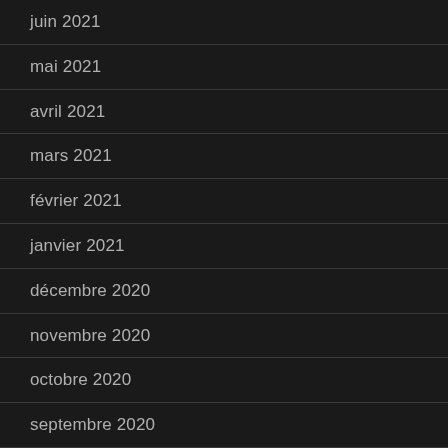juin 2021
mai 2021
avril 2021
mars 2021
février 2021
janvier 2021
décembre 2020
novembre 2020
octobre 2020
septembre 2020
août 2020